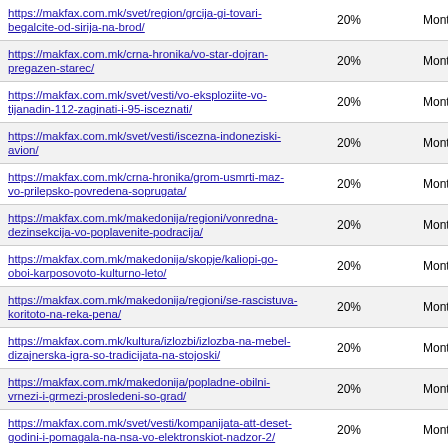| URL | Priority | Change Frequency |
| --- | --- | --- |
| https://makfax.com.mk/svet/region/grcija-gi-tovari-begalcite-od-sirija-na-brod/ | 20% | Monthly |
| https://makfax.com.mk/crna-hronika/vo-star-dojran-pregazen-starec/ | 20% | Monthly |
| https://makfax.com.mk/svet/vesti/vo-eksploziite-vo-tijanadin-112-zaginati-i-95-isceznati/ | 20% | Monthly |
| https://makfax.com.mk/svet/vesti/iscezna-indoneziski-avion/ | 20% | Monthly |
| https://makfax.com.mk/crna-hronika/grom-usmrti-maz-vo-prilepsko-povredena-soprugata/ | 20% | Monthly |
| https://makfax.com.mk/makedonija/regioni/vonredna-dezinsekcija-vo-poplavenite-podracija/ | 20% | Monthly |
| https://makfax.com.mk/makedonija/skopje/kaliopi-go-oboi-karposovoto-kulturno-leto/ | 20% | Monthly |
| https://makfax.com.mk/makedonija/regioni/se-rascistuva-koritoto-na-reka-pena/ | 20% | Monthly |
| https://makfax.com.mk/kultura/izlozbi/izlozba-na-mebel-dizajnerska-igra-so-tradicijata-na-stojoski/ | 20% | Monthly |
| https://makfax.com.mk/makedonija/popladne-obilni-vrnezi-i-grmezi-prosledeni-so-grad/ | 20% | Monthly |
| https://makfax.com.mk/svet/vesti/kompanijata-att-deset-godini-i-pomagala-na-nsa-vo-elektronskiot-nadzor-2/ | 20% | Monthly |
| https://makfax.com.mk/svet/vesti/tramp-ke-potrosi-milijarda-na-kampanjata-ja-obvini-klinton-za-kriminal/ | 20% | Monthly |
| https://makfax.com.mk/svet/vesti/libija-bara-od-arapskite-... | 20% | Monthly |